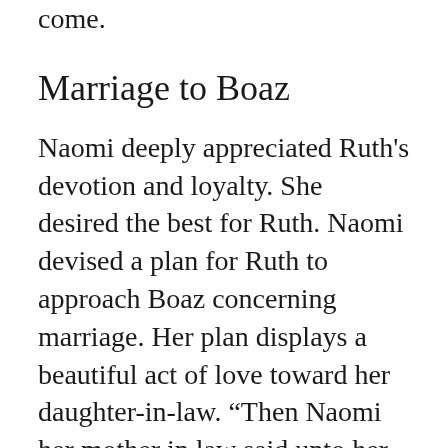come.
Marriage to Boaz
Naomi deeply appreciated Ruth's devotion and loyalty. She desired the best for Ruth. Naomi devised a plan for Ruth to approach Boaz concerning marriage. Her plan displays a beautiful act of love toward her daughter-in-law. “Then Naomi her mother in law said unto her, my daughter, shall I not seek rest for thee, that it may be well with thee? And now is not Boaz of our kindred, with whose maidens thou wast? Behold, he winnoweth barley to night in the threshingfloor. Wash thy